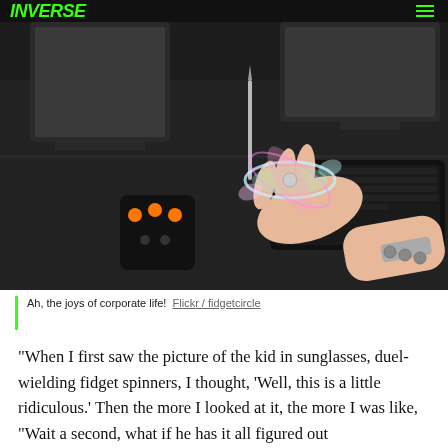INVERSE
[Figure (photo): A hand spinning a fidget spinner on a desk with a computer monitor, keyboard, and fidget cube with orange dots visible in the background.]
Ah, the joys of corporate life!  Flickr / fidgetcircle
“When I first saw the picture of the kid in sunglasses, duel-wielding fidget spinners, I thought, ‘Well, this is a little ridiculous.’ Then the more I looked at it, the more I was like, “Wait a second, what if he has it all figured out